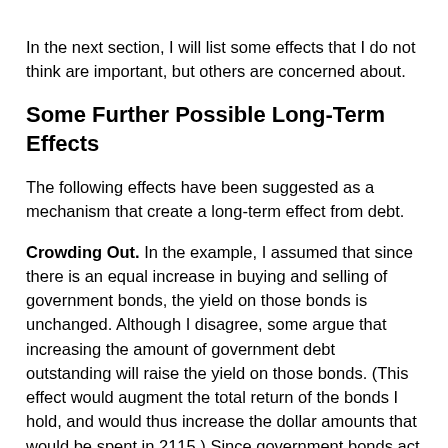In the next section, I will list some effects that I do not think are important, but others are concerned about.
Some Further Possible Long-Term Effects
The following effects have been suggested as a mechanism that create a long-term effect from debt.
Crowding Out. In the example, I assumed that since there is an equal increase in buying and selling of government bonds, the yield on those bonds is unchanged. Although I disagree, some argue that increasing the amount of government debt outstanding will raise the yield on those bonds. (This effect would augment the total return of the bonds I hold, and would thus increase the dollar amounts that would be spent in 2115.) Since government bonds act as a benchmark for other lending rates, long-term interest rates faced by private sector borrowers will also increase. This is supposed to have the effect of lowering investment, and therefore reducing long-term potential growth rates. It should be noted that the size and even the existence of this effect has been disputed. But for the question at hand, I